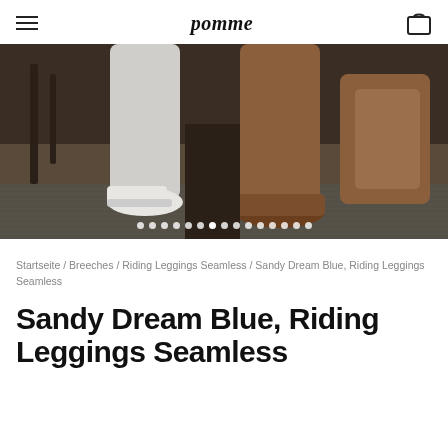pomme
[Figure (photo): Close-up photo of two people's legs and feet: one person wearing white/light grey riding leggings with white sneakers, the other wearing tall brown leather riding boots, standing on a textured metal floor surface in an industrial/stable setting.]
Startseite / Breeches / Riding Leggings Seamless / Sandy Dream Blue, Riding Leggings Seamless
Sandy Dream Blue, Riding Leggings Seamless